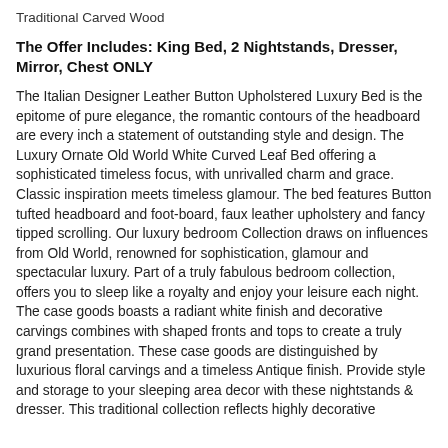Traditional Carved Wood
The Offer Includes: King Bed, 2 Nightstands, Dresser, Mirror, Chest ONLY
The Italian Designer Leather Button Upholstered Luxury Bed is the epitome of pure elegance, the romantic contours of the headboard are every inch a statement of outstanding style and design. The Luxury Ornate Old World White Curved Leaf Bed offering a sophisticated timeless focus, with unrivalled charm and grace. Classic inspiration meets timeless glamour. The bed features Button tufted headboard and foot-board, faux leather upholstery and fancy tipped scrolling. Our luxury bedroom Collection draws on influences from Old World, renowned for sophistication, glamour and spectacular luxury. Part of a truly fabulous bedroom collection, offers you to sleep like a royalty and enjoy your leisure each night. The case goods boasts a radiant white finish and decorative carvings combines with shaped fronts and tops to create a truly grand presentation. These case goods are distinguished by luxurious floral carvings and a timeless Antique finish. Provide style and storage to your sleeping area decor with these nightstands & dresser. This traditional collection reflects highly decorative